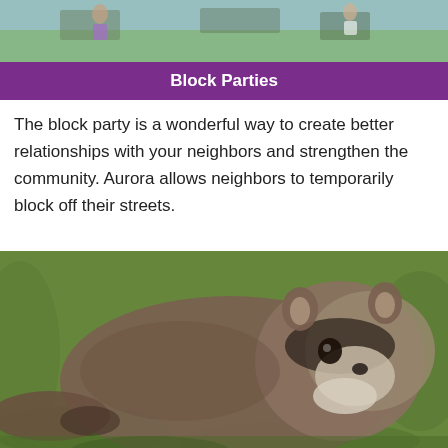[Figure (photo): People at an outdoor block party with tables and chairs visible]
Block Parties
The block party is a wonderful way to create better relationships with your neighbors and strengthen the community. Aurora allows neighbors to temporarily block off their streets.
[Figure (photo): A raccoon resting on green grass, looking at the camera]
Living With Wildlife
While you may perceive your fence as a property line, a coyote, fox, or great horned owl does not. Learn how